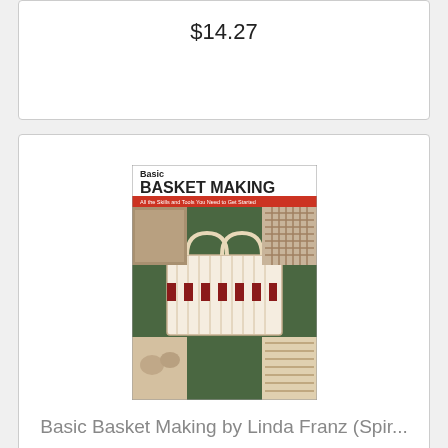$14.27
[Figure (photo): Book cover of 'Basic Basket Making' by Linda Franz, showing a white woven basket with red chain-link pattern and multiple how-to photos on a green background]
Basic Basket Making by Linda Franz (Spir...
$12.60